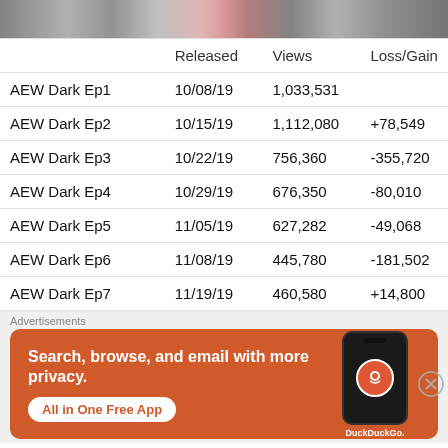[Figure (photo): Top portion of a photo showing people standing on a stage]
|  | Released | Views | Loss/Gain |
| --- | --- | --- | --- |
| AEW Dark Ep1 | 10/08/19 | 1,033,531 |  |
| AEW Dark Ep2 | 10/15/19 | 1,112,080 | +78,549 |
| AEW Dark Ep3 | 10/22/19 | 756,360 | -355,720 |
| AEW Dark Ep4 | 10/29/19 | 676,350 | -80,010 |
| AEW Dark Ep5 | 11/05/19 | 627,282 | -49,068 |
| AEW Dark Ep6 | 11/08/19 | 445,780 | -181,502 |
| AEW Dark Ep7 | 11/19/19 | 460,580 | +14,800 |
Advertisements
[Figure (screenshot): DuckDuckGo advertisement banner: Search, browse, and email with more privacy. All in One Free App.]